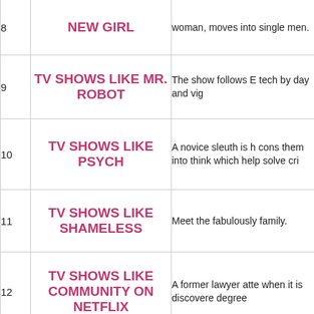| # | Title | Description |
| --- | --- | --- |
| 8 | NEW GIRL | woman, moves into single men. |
| 9 | TV SHOWS LIKE MR. ROBOT | The show follows E tech by day and vig |
| 10 | TV SHOWS LIKE PSYCH | A novice sleuth is h cons them into think which help solve cri |
| 11 | TV SHOWS LIKE SHAMELESS | Meet the fabulously family. |
| 12 | TV SHOWS LIKE COMMUNITY ON NETFLIX | A former lawyer atte when it is discovere degree |
| 13 | TV SHOWS LIKE THE OFFICE | This U.S. adaptatio Scranton, Pa. – ha |